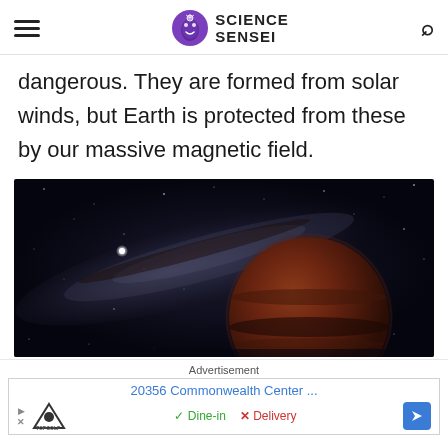Science Sensei
dangerous. They are formed from solar winds, but Earth is protected from these by our massive magnetic field.
[Figure (illustration): Artistic illustration of a large reddish-brown planet against a dark starfield with the Milky Way galaxy band visible in the background. A bright white star appears in the mid-left of the image.]
Advertisement
20356 Commonwealth Center ...
Dine-in   Delivery